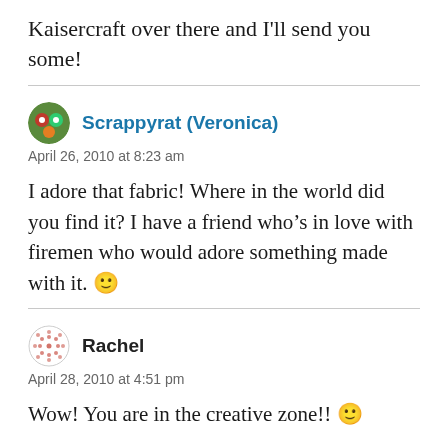Kaisercraft over there and I'll send you some!
Scrappyrat (Veronica)
April 26, 2010 at 8:23 am
I adore that fabric! Where in the world did you find it? I have a friend who’s in love with firemen who would adore something made with it. 🙂
Rachel
April 28, 2010 at 4:51 pm
Wow! You are in the creative zone!! 🙂